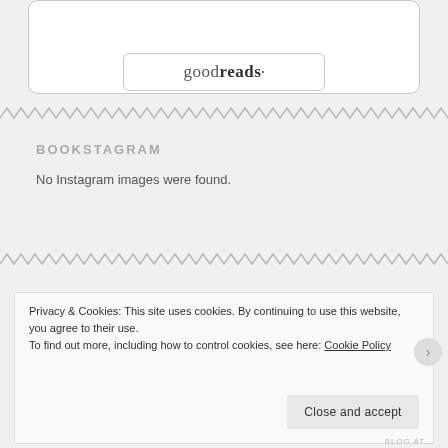[Figure (logo): Goodreads logo button inside a rounded rectangle widget box]
BOOKSTAGRAM
No Instagram images were found.
Privacy & Cookies: This site uses cookies. By continuing to use this website, you agree to their use.
To find out more, including how to control cookies, see here: Cookie Policy
Close and accept
BLOG AT...